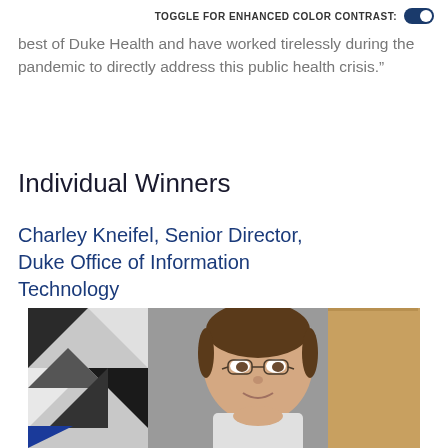TOGGLE FOR ENHANCED COLOR CONTRAST:
best of Duke Health and have worked tirelessly during the pandemic to directly address this public health crisis.”
Individual Winners
Charley Kneifel, Senior Director, Duke Office of Information Technology
[Figure (photo): Portrait photo of Charley Kneifel, a man with short brown hair and glasses, wearing a light-colored shirt, seated indoors with a geometric quilt on the wall behind him and wood cabinetry in the background.]